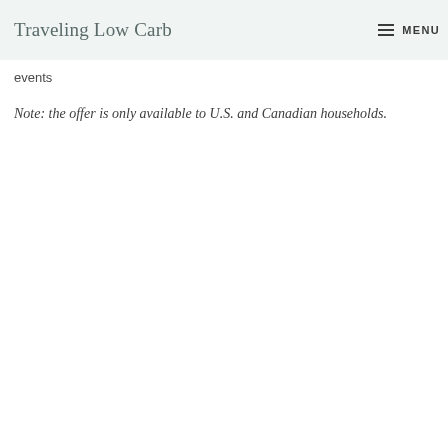Traveling Low Carb  MENU
events
Note: the offer is only available to U.S. and Canadian households.